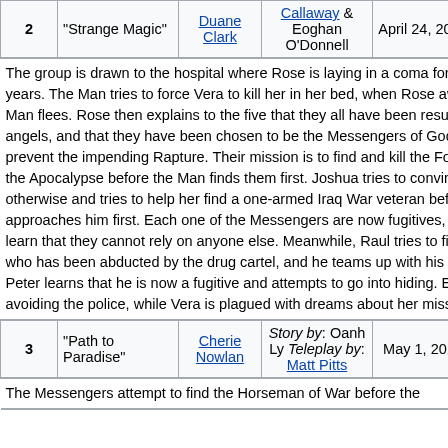| # | Title | Director | Writer | Air Date | Rating |
| --- | --- | --- | --- | --- | --- |
| 2 | "Strange Magic" | Duane Clark | Callaway & Eoghan O'Donnell | April 24, 2015 | 0.77[11] |
| 3 | "Path to Paradise" | Cherie Nowlan | Story by: Oanh Ly Teleplay by: Matt Pitts | May 1, 2015 | 0.65[12] |
The group is drawn to the hospital where Rose is laying in a coma for the past seven years. The Man tries to force Vera to kill her in her bed, when Rose awakens and the Man flees. Rose then explains to the five that they all have been resurrected as angels, and that they have been chosen to be the Messengers of God in order to prevent the impending Rapture. Their mission is to find and kill the Four Horsemen of the Apocalypse before the Man finds them first. Joshua tries to convince Vera otherwise and tries to help her find a one-armed Iraq War veteran before the Man approaches him first. Each one of the Messengers are now fugitives, and they also learn that they cannot rely on anyone else. Meanwhile, Raul tries to find his brother who has been abducted by the drug cartel, and he teams up with his niece, Nadia. Peter learns that he is now a fugitive and attempts to go into hiding. Erin continues avoiding the police, while Vera is plagued with dreams about her missing son.
The Messengers attempt to find the Horseman of War before the